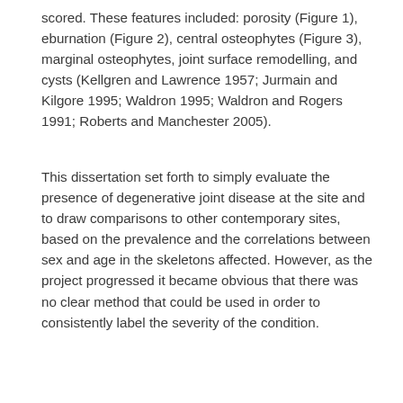scored. These features included: porosity (Figure 1), eburnation (Figure 2), central osteophytes (Figure 3), marginal osteophytes, joint surface remodelling, and cysts (Kellgren and Lawrence 1957; Jurmain and Kilgore 1995; Waldron 1995; Waldron and Rogers 1991; Roberts and Manchester 2005).
This dissertation set forth to simply evaluate the presence of degenerative joint disease at the site and to draw comparisons to other contemporary sites, based on the prevalence and the correlations between sex and age in the skeletons affected. However, as the project progressed it became obvious that there was no clear method that could be used in order to consistently label the severity of the condition.